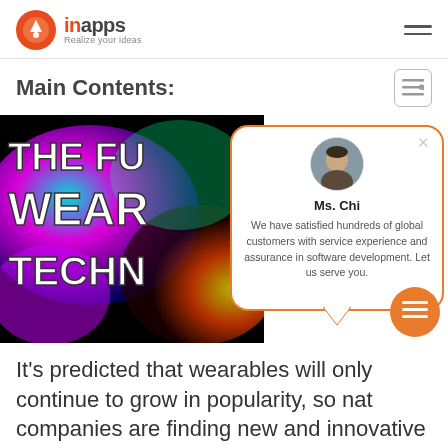inapps - Realize your ideas
Main Contents:
[Figure (screenshot): Colorful futuristic wearable technology article header image with text THE FU... / WEAR... / TECHN... overlaid, and a chat popup featuring Ms. Chi with message: We have satisfied hundreds of global customers with service experience and assurance in software development. Let us serve you.]
It's predicted that wearables will only continue to grow in popularity, so nat... companies are finding new and innovative...